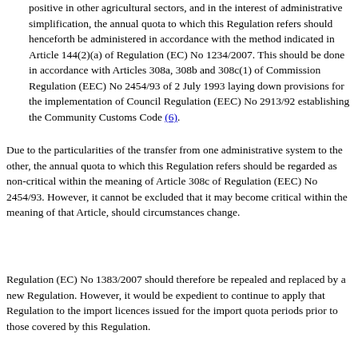positive in other agricultural sectors, and in the interest of administrative simplification, the annual quota to which this Regulation refers should henceforth be administered in accordance with the method indicated in Article 144(2)(a) of Regulation (EC) No 1234/2007. This should be done in accordance with Articles 308a, 308b and 308c(1) of Commission Regulation (EEC) No 2454/93 of 2 July 1993 laying down provisions for the implementation of Council Regulation (EEC) No 2913/92 establishing the Community Customs Code (6).
(4) Due to the particularities of the transfer from one administrative system to the other, the annual quota to which this Regulation refers should be regarded as non-critical within the meaning of Article 308c of Regulation (EEC) No 2454/93. However, it cannot be excluded that it may become critical within the meaning of that Article, should circumstances change.
(5) Regulation (EC) No 1383/2007 should therefore be repealed and replaced by a new Regulation. However, it would be expedient to continue to apply that Regulation to the import licences issued for the import quota periods prior to those covered by this Regulation.